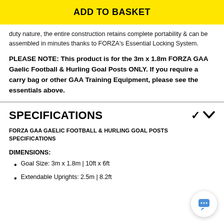ADD TO BASKET
duty nature, the entire construction retains complete portability & can be assembled in minutes thanks to FORZA's Essential Locking System.
PLEASE NOTE: This product is for the 3m x 1.8m FORZA GAA Gaelic Football & Hurling Goal Posts ONLY. If you require a carry bag or other GAA Training Equipment, please see the essentials above.
SPECIFICATIONS
FORZA GAA GAELIC FOOTBALL & HURLING GOAL POSTS SPECIFICATIONS
DIMENSIONS:
Goal Size: 3m x 1.8m | 10ft x 6ft
Extendable Uprights: 2.5m | 8.2ft